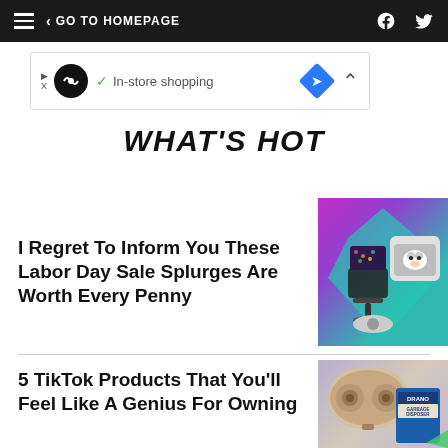GO TO HOMEPAGE
[Figure (other): Advertisement banner: In-store shopping]
WHAT'S HOT
I Regret To Inform You These Labor Day Sale Splurges Are Worth Every Penny
[Figure (photo): Colorful product image with office chair, pet carrier with dog, and robot vacuum on teal and purple background]
5 TikTok Products That You'll Feel Like A Genius For Owning
[Figure (photo): Beige wireless earbuds case and Drano garbage disposal cleaner on purple background]